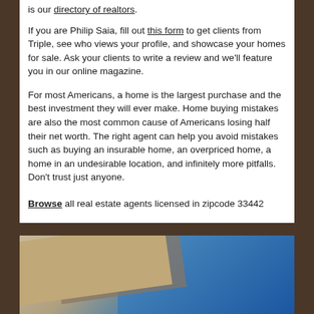is our directory of realtors.
If you are Philip Saia, fill out this form to get clients from Triple, see who views your profile, and showcase your homes for sale. Ask your clients to write a review and we'll feature you in our online magazine.
For most Americans, a home is the largest purchase and the best investment they will ever make. Home buying mistakes are also the most common cause of Americans losing half their net worth. The right agent can help you avoid mistakes such as buying an insurable home, an overpriced home, a home in an undesirable location, and infinitely more pitfalls. Don't trust just anyone.
Browse all real estate agents licensed in zipcode 33442
[Figure (photo): Photo of a house or real estate related image showing beige/tan architectural elements against a blue background]